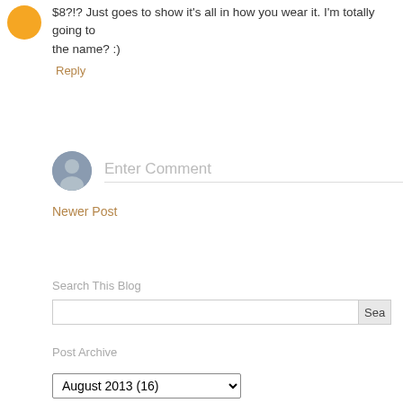$8?!? Just goes to show it's all in how you wear it. I'm totally going to the name? :)
Reply
Enter Comment
Newer Post
Search This Blog
Post Archive
August 2013 (16)